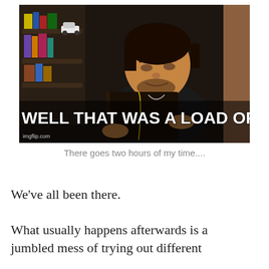[Figure (photo): Meme image of a young man with dark hair and beard reading a book, set against a dark background with bookshelves. Large white bold text at the bottom reads 'WELL THAT WAS A LOAD OF SHIT'. Watermark 'imgflip.com' in bottom left corner.]
There goes two hours of my time....
We've all been there.
What usually happens afterwards is a jumbled mess of trying out different